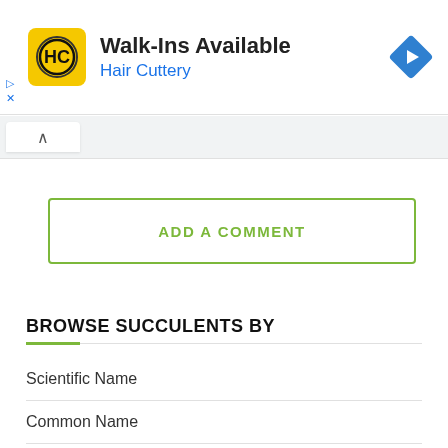[Figure (other): Hair Cuttery advertisement banner with yellow HC logo icon, text 'Walk-Ins Available' and 'Hair Cuttery' in blue, and a blue diamond navigation arrow icon on the right]
[Figure (other): Browser tab area with a white tab pill showing an up-caret chevron icon]
ADD A COMMENT
BROWSE SUCCULENTS BY
Scientific Name
Common Name